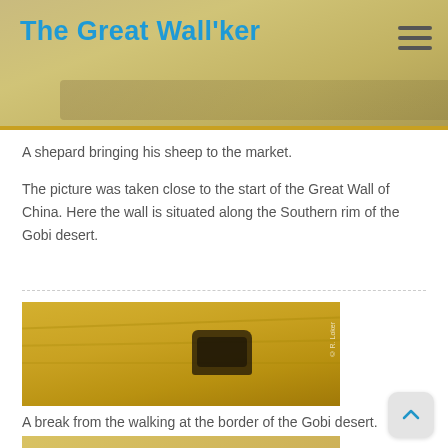The Great Wall'ker
A shepard bringing his sheep to the market.
The picture was taken close to the start of the Great Wall of China. Here the wall is situated along the Southern rim of the Gobi desert.
[Figure (photo): Aerial view of a vehicle or object in the sandy Gobi desert terrain, golden/sepia toned photograph with copyright mark R. Loker]
A break from the walking at the border of the Gobi desert.
[Figure (photo): Books including 'Learn to Speak Chinese' displayed on a shelf, sepia/golden toned]